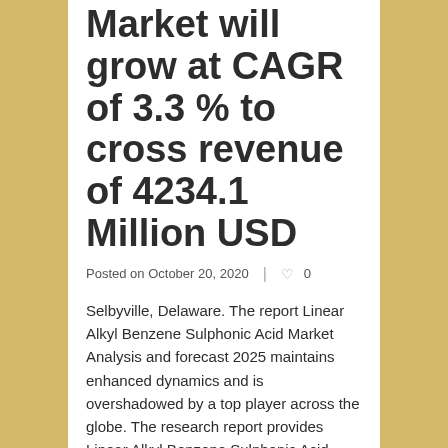Market will grow at CAGR of 3.3 % to cross revenue of 4234.1 Million USD
Posted on October 20, 2020  |  ♥ 0
Selbyville, Delaware. The report Linear Alkyl Benzene Sulphonic Acid Market Analysis and forecast 2025 maintains enhanced dynamics and is overshadowed by a top player across the globe. The research report provides Linear Alkyl Benzene Sulphonic Acid Market analysis and